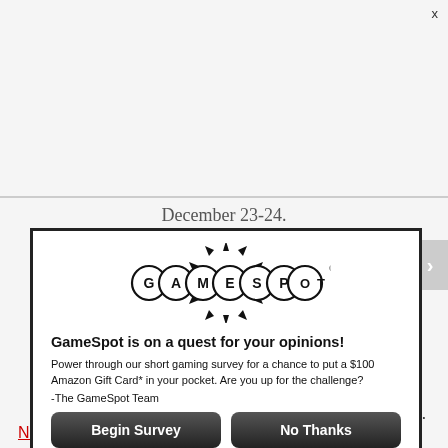[Figure (logo): GameSpot logo with starburst and registered trademark, black and white]
GameSpot is on a quest for your opinions!
Power through our short gaming survey for a chance to put a $100 Amazon Gift Card* in your pocket.  Are you up for the challenge?
-The GameSpot Team
Begin Survey
No Thanks
When you reply to this survey, you acknowledge that Red Ventures collects your personal data in accordance with the Red Ventures privacy policy
For sweepstakes rules, see here.
Contact us about this survey.